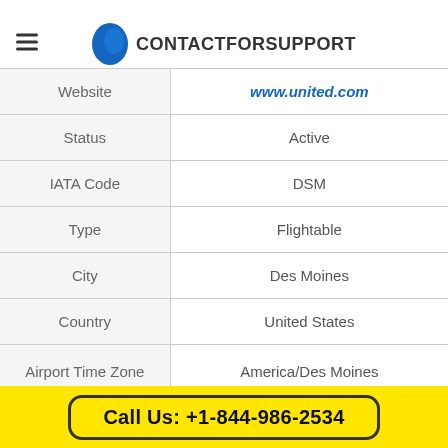CONTACTFORSUPPORT
| Field | Value |
| --- | --- |
| Website | www.united.com |
| Status | Active |
| IATA Code | DSM |
| Type | Flightable |
| City | Des Moines |
| Country | United States |
| Airport Time Zone | America/Des Moines |
| Contact Number | +1 515-256-5050 |
Call Us: +1-844-986-2534